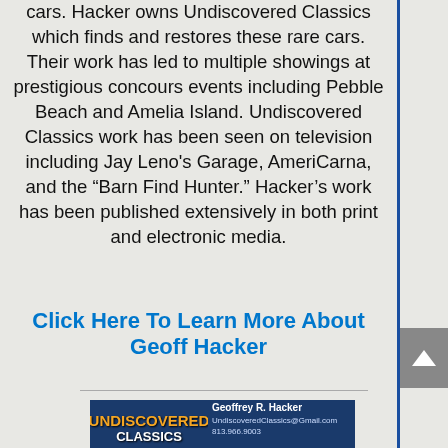cars. Hacker owns Undiscovered Classics which finds and restores these rare cars. Their work has led to multiple showings at prestigious concours events including Pebble Beach and Amelia Island. Undiscovered Classics work has been seen on television including Jay Leno's Garage, AmeriCarna, and the "Barn Find Hunter." Hacker's work has been published extensively in both print and electronic media.
Click Here To Learn More About Geoff Hacker
[Figure (other): Undiscovered Classics advertisement banner showing Geoffrey R. Hacker contact info and a dark sports car on a blue background]